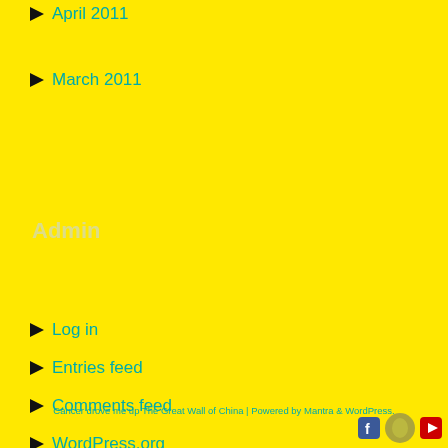April 2011
March 2011
Admin
Log in
Entries feed
Comments feed
WordPress.org
Cancer drove me up The Great Wall of China | Powered by Mantra & WordPress.